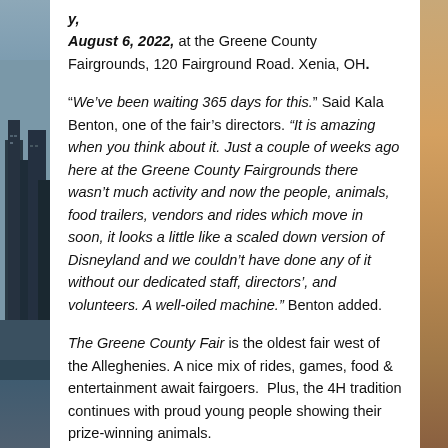y, August 6, 2022, at the Greene County Fairgrounds, 120 Fairground Road. Xenia, OH.
“We’ve been waiting 365 days for this.” Said Kala Benton, one of the fair’s directors. “It is amazing when you think about it. Just a couple of weeks ago here at the Greene County Fairgrounds there wasn’t much activity and now the people, animals, food trailers, vendors and rides which move in soon, it looks a little like a scaled down version of Disneyland and we couldn’t have done any of it without our dedicated staff, directors’, and volunteers. A well-oiled machine.” Benton added.
The Greene County Fair is the oldest fair west of the Alleghenies. A nice mix of rides, games, food & entertainment await fairgoers. Plus, the 4H tradition continues with proud young people showing their prize-winning animals.